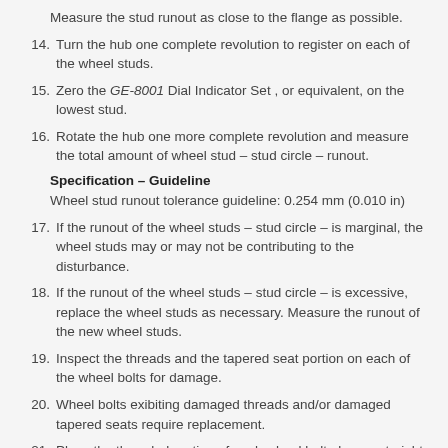Measure the stud runout as close to the flange as possible.
14. Turn the hub one complete revolution to register on each of the wheel studs.
15. Zero the GE-8001 Dial Indicator Set , or equivalent, on the lowest stud.
16. Rotate the hub one more complete revolution and measure the total amount of wheel stud – stud circle – runout.
Specification – Guideline
Wheel stud runout tolerance guideline: 0.254 mm (0.010 in)
17. If the runout of the wheel studs – stud circle – is marginal, the wheel studs may or may not be contributing to the disturbance.
18. If the runout of the wheel studs – stud circle – is excessive, replace the wheel studs as necessary. Measure the runout of the new wheel studs.
19. Inspect the threads and the tapered seat portion on each of the wheel bolts for damage.
20. Wheel bolts exibiting damaged threads and/or damaged tapered seats require replacement.
21. Place the threaded portion of each wheel bolt along a straight edge